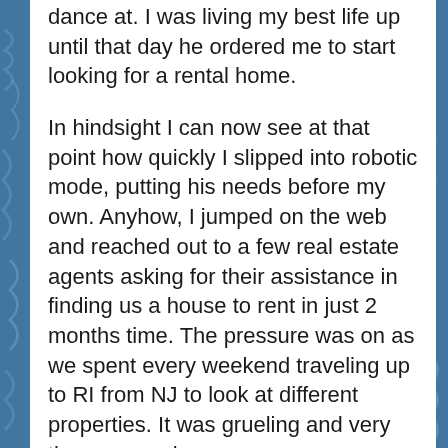dance at. I was living my best life up until that day he ordered me to start looking for a rental home.
In hindsight I can now see at that point how quickly I slipped into robotic mode, putting his needs before my own. Anyhow, I jumped on the web and reached out to a few real estate agents asking for their assistance in finding us a house to rent in just 2 months time. The pressure was on as we spent every weekend traveling up to RI from NJ to look at different properties. It was grueling and very time consuming.
In late June during one of these weekends we were shown the most darling beach cottage on a dead end road across from a private beach. Even though it was just a one bedroom Cape, it's charm had all 4